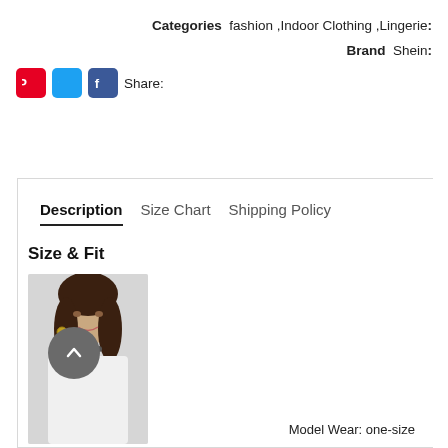Categories: fashion, Indoor Clothing, Lingerie
Brand: Shein
Share: [Pinterest] [Twitter] [Facebook]
Description | Size Chart | Shipping Policy
Size & Fit
[Figure (photo): Model wearing white top with choker necklace, long dark hair]
Model Wear: one-size